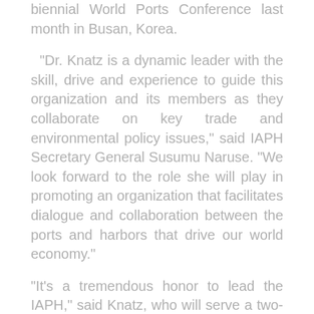biennial World Ports Conference last month in Busan, Korea.
"Dr. Knatz is a dynamic leader with the skill, drive and experience to guide this organization and its members as they collaborate on key trade and environmental policy issues," said IAPH Secretary General Susumu Naruse. "We look forward to the role she will play in promoting an organization that facilitates dialogue and collaboration between the ports and harbors that drive our world economy."
"It's a tremendous honor to lead the IAPH," said Knatz, who will serve a two-year term through 2013. In her inaugural speech, Knatz pledged to raise awareness of the IAPH and grow its membership while advancing its goals of improving global logistics and promoting